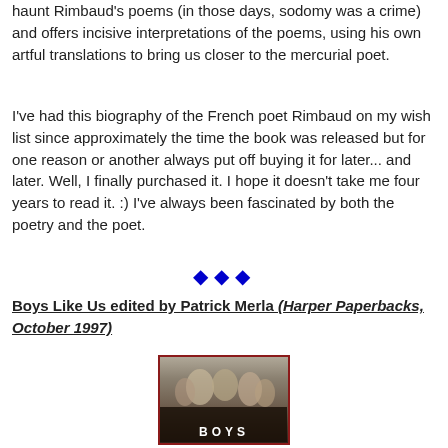haunt Rimbaud's poems (in those days, sodomy was a crime) and offers incisive interpretations of the poems, using his own artful translations to bring us closer to the mercurial poet.
I've had this biography of the French poet Rimbaud on my wish list since approximately the time the book was released but for one reason or another always put off buying it for later... and later. Well, I finally purchased it. I hope it doesn't take me four years to read it. :) I've always been fascinated by both the poetry and the poet.
❖ ❖ ❖
Boys Like Us edited by Patrick Merla (Harper Paperbacks, October 1997)
[Figure (photo): Book cover of 'Boys Like Us' showing black and white photo of figures, with red border and the word BOYS visible at the bottom]